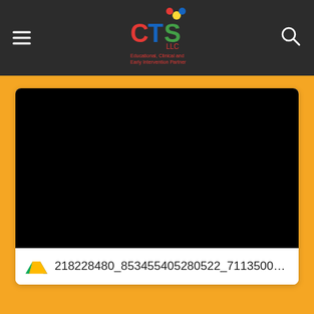CTS LLC navigation bar with logo and search
[Figure (screenshot): Black video thumbnail embedded in a white card]
218228480_853455405280522_71135005368...